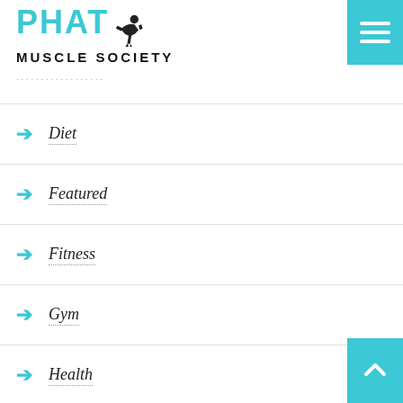PHAT MUSCLE SOCIETY
Diet
Featured
Fitness
Gym
Health
Health Drinks
Pain Management